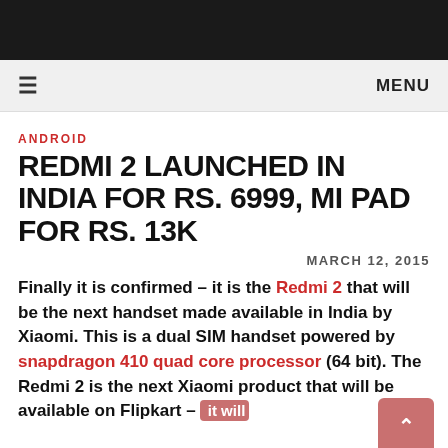MENU
ANDROID
REDMI 2 LAUNCHED IN INDIA FOR RS. 6999, MI PAD FOR RS. 13K
MARCH 12, 2015
Finally it is confirmed – it is the Redmi 2 that will be the next handset made available in India by Xiaomi. This is a dual SIM handset powered by snapdragon 410 quad core processor (64 bit). The Redmi 2 is the next Xiaomi product that will be available on Flipkart – it will